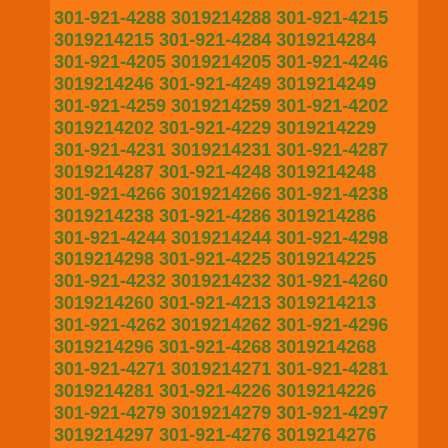301-921-4288 3019214288 301-921-4215 3019214215 301-921-4284 3019214284 301-921-4205 3019214205 301-921-4246 3019214246 301-921-4249 3019214249 301-921-4259 3019214259 301-921-4202 3019214202 301-921-4229 3019214229 301-921-4231 3019214231 301-921-4287 3019214287 301-921-4248 3019214248 301-921-4266 3019214266 301-921-4238 3019214238 301-921-4286 3019214286 301-921-4244 3019214244 301-921-4298 3019214298 301-921-4225 3019214225 301-921-4232 3019214232 301-921-4260 3019214260 301-921-4213 3019214213 301-921-4262 3019214262 301-921-4296 3019214296 301-921-4268 3019214268 301-921-4271 3019214271 301-921-4281 3019214281 301-921-4226 3019214226 301-921-4279 3019214279 301-921-4297 3019214297 301-921-4276 3019214276 301-921-4211 3019214211 301-921-4293 3019214293 301-921-4218 3019214218 301-921-4217 3019214217 301-921-4264 3019214264 301-921-4214 3019214214 301-921-4295 3019214295 301-921-4206 3019214206 301-921-4278 3019214278 301-921-4247 3019214247 301-921-4250 3019214250 301-921-4280 3019214280 301-921-4275 3019214275